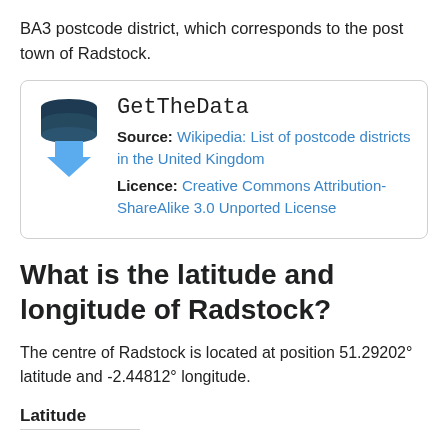BA3 postcode district, which corresponds to the post town of Radstock.
[Figure (logo): GetTheData logo: stacked database cylinders with a blue downward arrow, beside the text 'GetTheData' in monospace font. Source: Wikipedia: List of postcode districts in the United Kingdom. Licence: Creative Commons Attribution-ShareAlike 3.0 Unported License.]
What is the latitude and longitude of Radstock?
The centre of Radstock is located at position 51.29202° latitude and -2.44812° longitude.
Latitude